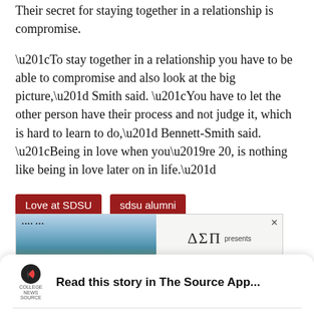Their secret for staying together in a relationship is compromise.
“To stay together in a relationship you have to be able to compromise and also look at the big picture,” Smith said. “You have to let the other person have their process and not judge it, which is hard to learn to do,” Bennett-Smith said. “Being in love when you’re 20, is nothing like being in love later on in life.”
Love at SDSU
sdsu alumni
[Figure (screenshot): Advertisement banner showing a landscape with birds and Delta Sigma Pi (ΔΣΠ) presents text]
[Figure (screenshot): App download modal with College News Source logo, text 'Read this story in The Source App...', and buttons 'Open App' and 'Continue in browser']